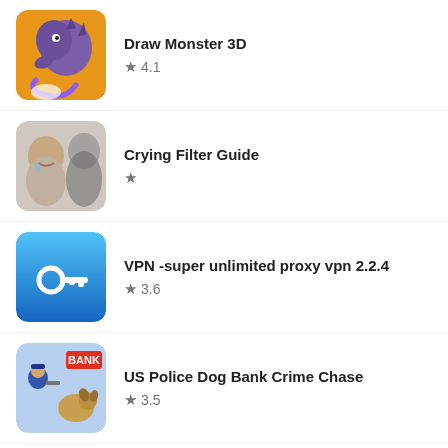Draw Monster 3D ★ 4.1
Crying Filter Guide ★
VPN -super unlimited proxy vpn 2.2.4 ★ 3.6
US Police Dog Bank Crime Chase ★ 3.5
Christmas Color Game offline ★